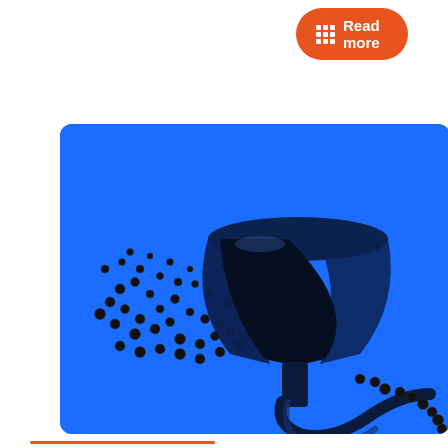Read more
[Figure (illustration): A 3D illustration of a dark blue/black funnel lying on its side on a bright blue background, with small metallic spheres/balls scattered at the wide opening end and forming a chain coming out of the narrow spout end.]
Ecommerce Sales Funnel – Everything you Need to Know